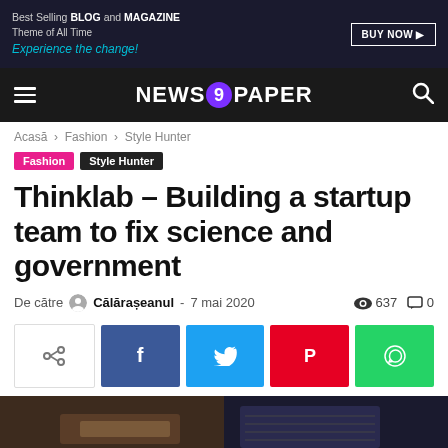[Figure (screenshot): Advertisement banner: 'Best Selling BLOG and MAGAZINE Theme of All Time. Experience the change!' with BUY NOW button on dark background]
NEWS9PAPER
Acasă › Fashion › Style Hunter
Fashion  Style Hunter
Thinklab – Building a startup team to fix science and government
De către Călărașeanul - 7 mai 2020  637  0
[Figure (infographic): Social share buttons row: share icon (white/grey), Facebook (blue), Twitter (cyan), Pinterest (red), WhatsApp (green)]
[Figure (photo): Partial bottom image showing a dark workspace with laptop and desk]